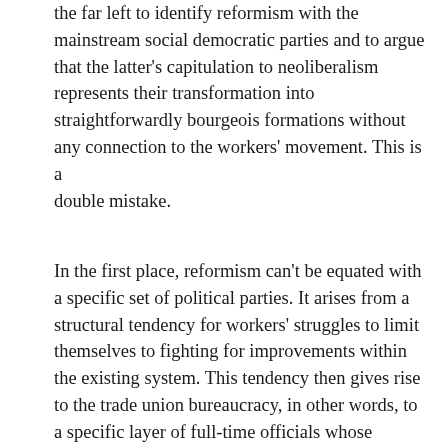the far left to identify reformism with the mainstream social democratic parties and to argue that the latter's capitulation to neoliberalism represents their transformation into straightforwardly bourgeois formations without any connection to the workers' movement. This is a double mistake.
In the first place, reformism can't be equated with a specific set of political parties. It arises from a structural tendency for workers' struggles to limit themselves to fighting for improvements within the existing system. This tendency then gives rise to the trade union bureaucracy, in other words, to a specific layer of full-time officials whose function is to negotiate the terms of workers' more or less grudging accommodation with capitalism; their influence within the labour movement